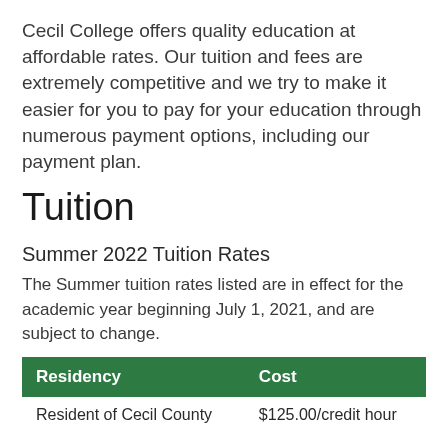Cecil College offers quality education at affordable rates. Our tuition and fees are extremely competitive and we try to make it easier for you to pay for your education through numerous payment options, including our payment plan.
Tuition
Summer 2022 Tuition Rates
The Summer tuition rates listed are in effect for the academic year beginning July 1, 2021, and are subject to change.
| Residency | Cost |
| --- | --- |
| Resident of Cecil County | $125.00/credit hour |